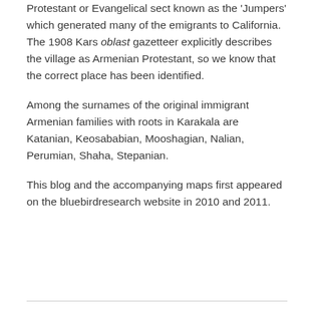Protestant or Evangelical sect known as the 'Jumpers' which generated many of the emigrants to California. The 1908 Kars oblast gazetteer explicitly describes the village as Armenian Protestant, so we know that the correct place has been identified.
Among the surnames of the original immigrant Armenian families with roots in Karakala are Katanian, Keosababian, Mooshagian, Nalian, Perumian, Shaha, Stepanian.
This blog and the accompanying maps first appeared on the bluebirdresearch website in 2010 and 2011.